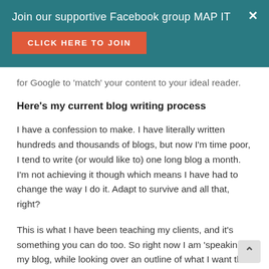Join our supportive Facebook group MAP IT
for Google to 'match' your content to your ideal reader.
Here's my current blog writing process
I have a confession to make. I have literally written hundreds and thousands of blogs, but now I'm time poor, I tend to write (or would like to) one long blog a month. I'm not achieving it though which means I have had to change the way I do it. Adapt to survive and all that, right?
This is what I have been teaching my clients, and it's something you can do too. So right now I am 'speaking' my blog, while looking over an outline of what I want the blog to say, and recording it.